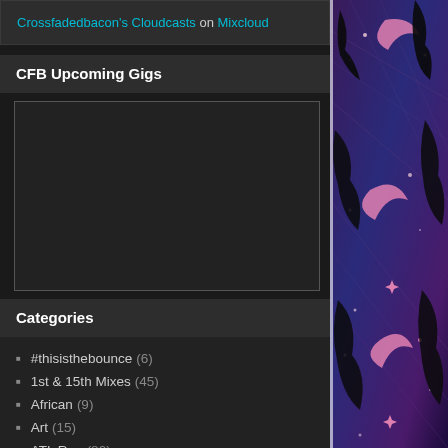Crossfadedbacon's Cloudcasts on Mixcloud
CFB Upcoming Gigs
[Figure (other): Empty dark box placeholder for upcoming gigs widget]
Categories
#thisisthebounce (6)
1st & 15th Mixes (45)
African (9)
Art (15)
ATL Rap (80)
[Figure (illustration): Decorative vertical banner on the right side with purple/blue cosmic artwork featuring pink crescent moons, stars, and celestial shapes on a dark textured background]